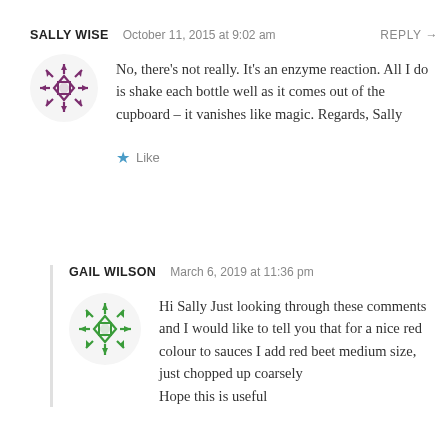SALLY WISE   October 11, 2015 at 9:02 am   REPLY →
[Figure (illustration): Purple decorative avatar icon with diamond/snowflake pattern]
No, there’s not really. It’s an enzyme reaction. All I do is shake each bottle well as it comes out of the cupboard – it vanishes like magic. Regards, Sally
★ Like
GAIL WILSON   March 6, 2019 at 11:36 pm
[Figure (illustration): Green decorative avatar icon with diamond/snowflake pattern]
Hi Sally Just looking through these comments and I would like to tell you that for a nice red colour to sauces I add red beet medium size, just chopped up coarsely Hope this is useful